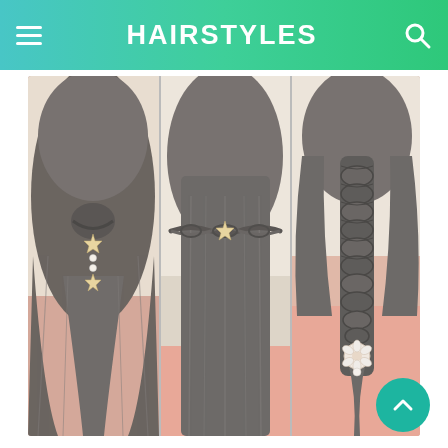HAIRSTYLES
[Figure (photo): Three hairstyle photos side by side: left shows a half-up style with starfish and pearl accessories, center shows a boho waterfall braid with starfish clip, right shows a full French braid with floral accessory at the bottom. All feature long thick dark hair against soft backgrounds.]
Easy Hairstyles For Long Thick Hair Hairstyle For Women Cute